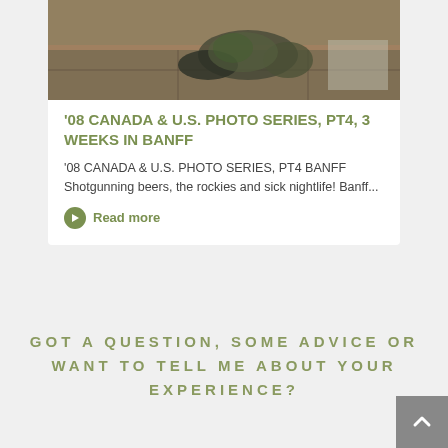[Figure (photo): Outdoor photo showing people with backpacks and gear on a concrete surface, appears to be camping or travel gear laid out.]
'08 CANADA & U.S. PHOTO SERIES, PT4, 3 WEEKS IN BANFF
'08 CANADA & U.S. PHOTO SERIES, PT4 BANFF Shotgunning beers, the rockies and sick nightlife! Banff...
Read more
GOT A QUESTION, SOME ADVICE OR WANT TO TELL ME ABOUT YOUR EXPERIENCE?